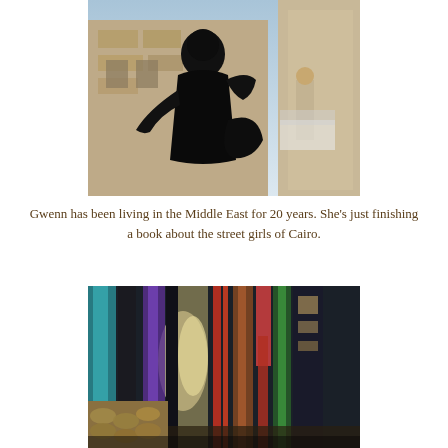[Figure (photo): A woman dressed in black carrying a bag, walking outdoors near a stone building, with another person visible in the background.]
Gwenn has been living in the Middle East for 20 years. She's just finishing a book about the street girls of Cairo.
[Figure (photo): A colorful market stall displaying hanging fabric textiles and scarves, with wooden items in the foreground, appearing to be a bazaar or souk scene.]